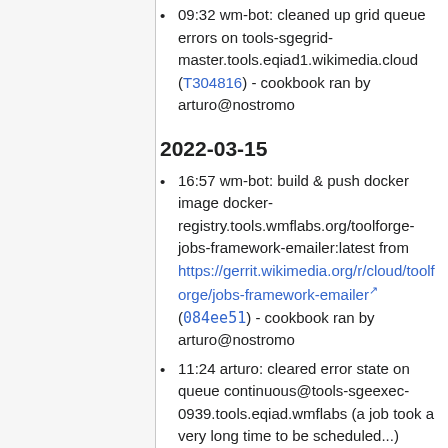09:32 wm-bot: cleaned up grid queue errors on tools-sgegrid-master.tools.eqiad1.wikimedia.cloud (T304816) - cookbook ran by arturo@nostromo
2022-03-15
16:57 wm-bot: build & push docker image docker-registry.tools.wmflabs.org/toolforge-jobs-framework-emailer:latest from https://gerrit.wikimedia.org/r/cloud/toolforge/jobs-framework-emailer (084ee51) - cookbook ran by arturo@nostromo
11:24 arturo: cleared error state on queue continuous@tools-sgeexec-0939.tools.eqiad.wmflabs (a job took a very long time to be scheduled...)
2022-03-14